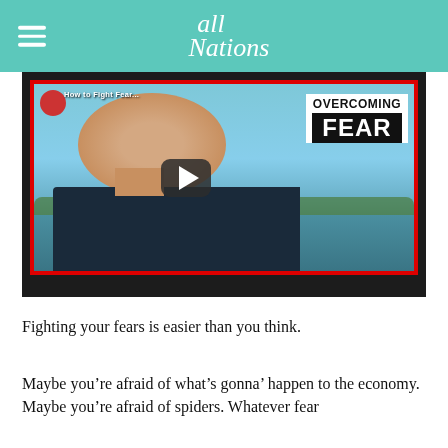All Nations
[Figure (screenshot): YouTube-style video thumbnail showing a man smiling outdoors near water with text 'OVERCOMING FEAR' on the right side and a play button overlay. Title bar reads 'How to Fight Fear'.]
Fighting your fears is easier than you think.
Maybe you’re afraid of what’s gonna’ happen to the economy. Maybe you’re afraid of spiders. Whatever fear